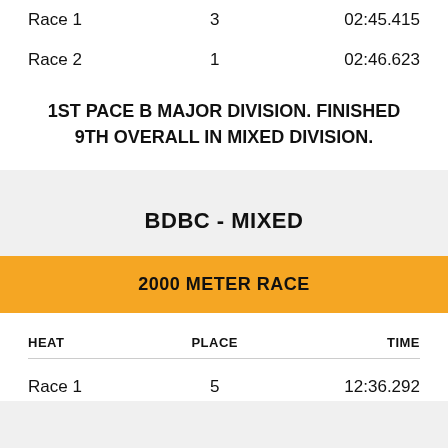| HEAT | PLACE | TIME |
| --- | --- | --- |
| Race 1 | 3 | 02:45.415 |
| Race 2 | 1 | 02:46.623 |
1ST PACE B MAJOR DIVISION. FINISHED 9TH OVERALL IN MIXED DIVISION.
BDBC - MIXED
2000 METER RACE
| HEAT | PLACE | TIME |
| --- | --- | --- |
| Race 1 | 5 | 12:36.292 |